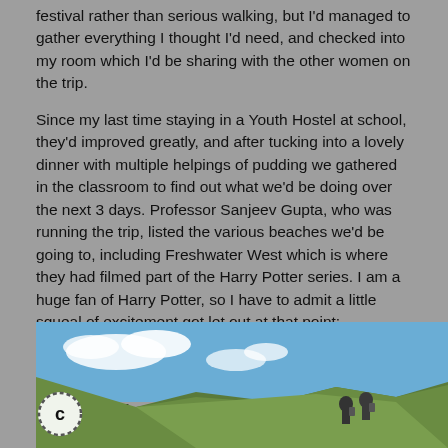festival rather than serious walking, but I'd managed to gather everything I thought I'd need, and checked into my room which I'd be sharing with the other women on the trip.
Since my last time staying in a Youth Hostel at school, they'd improved greatly, and after tucking into a lovely dinner with multiple helpings of pudding we gathered in the classroom to find out what we'd be doing over the next 3 days. Professor Sanjeev Gupta, who was running the trip, listed the various beaches we'd be going to, including Freshwater West which is where they had filmed part of the Harry Potter series. I am a huge fan of Harry Potter, so I have to admit a little squeal of excitement got let out at that point; especially as it was the first place we'd be visiting the following day.
Day 1
[Figure (photo): Outdoor photo showing people hiking/walking on a grassy hillside with a blue sky and clouds in the background.]